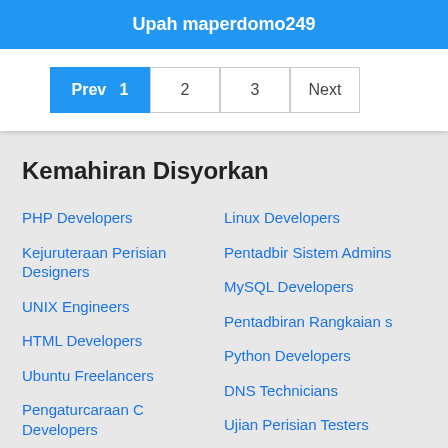Upah maperdomo249
Prev 1 2 3 Next
Kemahiran Disyorkan
PHP Developers
Linux Developers
Kejuruteraan Perisian Designers
Pentadbir Sistem Admins
MySQL Developers
UNIX Engineers
Pentadbiran Rangkaian s
HTML Developers
Python Developers
Ubuntu Freelancers
DNS Technicians
Pengaturcaraan C Developers
Ujian Perisian Testers
Shell Script Developers
Pengaturcaraan C++ Developers